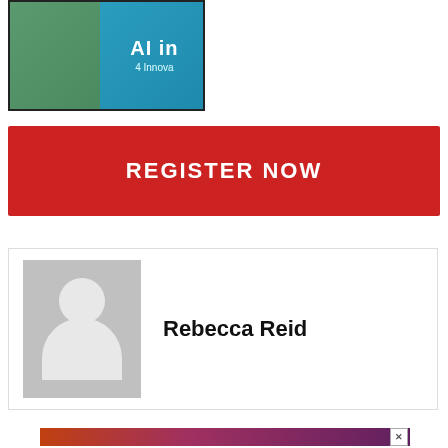[Figure (screenshot): Partial screenshot of a presentation or event banner with text 'AI in' and '4 Innova' visible on a teal/green background]
REGISTER NOW
[Figure (photo): Default avatar/profile placeholder image: grey square with white silhouette of a person (circle head and rounded body shape)]
Rebecca Reid
[Figure (screenshot): Bottom advertisement banner with orange-to-purple gradient and a close (X) button in the top right corner]